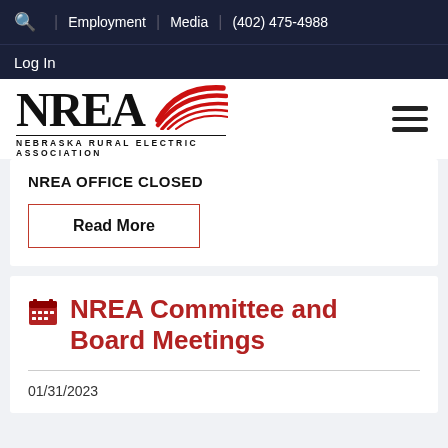Q | Employment | Media | (402) 475-4988
Log In
[Figure (logo): NREA - Nebraska Rural Electric Association logo with red swoosh graphic and hamburger menu icon]
NREA OFFICE CLOSED
Read More
NREA Committee and Board Meetings
01/31/2023